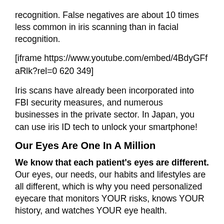recognition. False negatives are about 10 times less common in iris scanning than in facial recognition.
[iframe https://www.youtube.com/embed/4BdyGFfaRlk?rel=0 620 349]
Iris scans have already been incorporated into FBI security measures, and numerous businesses in the private sector. In Japan, you can use iris ID tech to unlock your smartphone!
Our Eyes Are One In A Million
We know that each patient's eyes are different. Our eyes, our needs, our habits and lifestyles are all different, which is why you need personalized eyecare that monitors YOUR risks, knows YOUR history, and watches YOUR eye health.
Thanks for allowing us to be a part of your vision